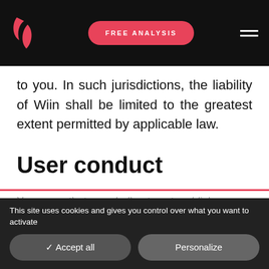FREE ANALYSIS
to you. In such jurisdictions, the liability of Wiin shall be limited to the greatest extent permitted by applicable law.
User conduct
You agree that you shall not post, publish, submit, or otherwise disseminate through the Site a...er.
This site uses cookies and gives you control over what you want to activate
✓ Accept all
Personalize